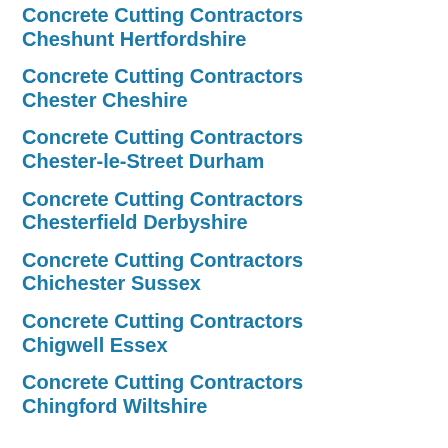Concrete Cutting Contractors Cheshunt Hertfordshire
Concrete Cutting Contractors Chester Cheshire
Concrete Cutting Contractors Chester-le-Street Durham
Concrete Cutting Contractors Chesterfield Derbyshire
Concrete Cutting Contractors Chichester Sussex
Concrete Cutting Contractors Chigwell Essex
Concrete Cutting Contractors Chingford Wiltshire